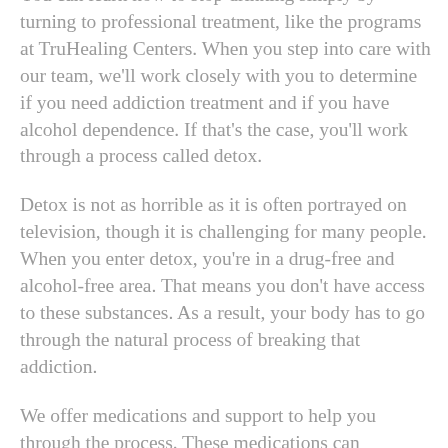You can learn how to stop drinking simply by turning to professional treatment, like the programs at TruHealing Centers. When you step into care with our team, we'll work closely with you to determine if you need addiction treatment and if you have alcohol dependence. If that's the case, you'll work through a process called detox.
Detox is not as horrible as it is often portrayed on television, though it is challenging for many people. When you enter detox, you're in a drug-free and alcohol-free area. That means you don't have access to these substances. As a result, your body has to go through the natural process of breaking that addiction.
We offer medications and support to help you through the process. These medications can minimize withdrawal symptoms and even help you start to feel more mentally stable. You'll be able to start working on recovery right